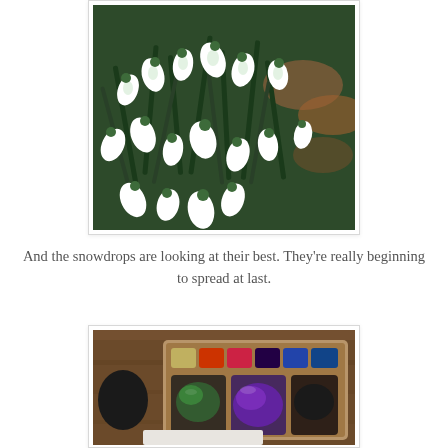[Figure (photo): Close-up photograph of snowdrop flowers in bloom, white drooping petals with green stems, with dried leaves in the background]
And the snowdrops are looking at their best. They're really beginning to spread at last.
[Figure (photo): Photograph of a watercolor paint palette with multiple wells containing various colors including purple, green, and red, resting on a wooden surface]